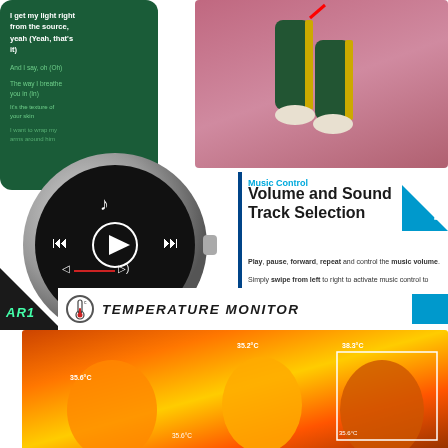[Figure (photo): Smartphone showing music lyrics app with green background and white/green text]
[Figure (photo): Person dancing wearing green tracksuit with yellow stripe on pink/purple background]
[Figure (photo): Smartwatch with music playback controls including play, prev, next, and volume]
Music Control
Volume and Sound Track Selection
Play, pause, forward, repeat and control the music volume. Simply swipe from left to right to activate music control to play music on smartphone or watch.
4
[Figure (logo): AR1 product logo in triangle shape]
TEMPERATURE MONITOR
[Figure (photo): Thermal camera image showing people with temperature readings: 35.6°C, 35.2°C, 38.3°C, 35.6°C]